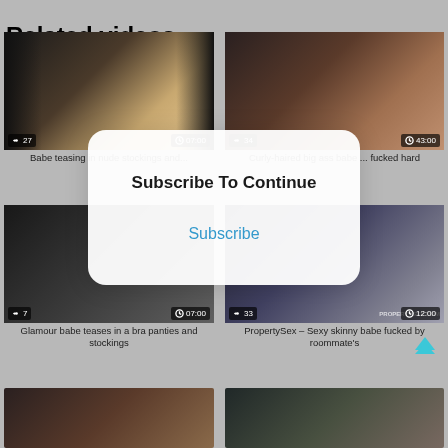Related videos
[Figure (screenshot): Video thumbnail 1: female figure in lingerie, views: 27, duration: 07:00]
Babe teasing in nude stockings and...
[Figure (screenshot): Video thumbnail 2: couple, views: 34, duration: 43:00]
Curly-haired big ass babe ... fucked hard
[Figure (screenshot): Video thumbnail 3: views: 7, duration: 07:00]
Glamour babe teases in a bra panties and stockings
[Figure (screenshot): Video thumbnail 4: PropertySex, views: 33, duration: 12:00]
PropertySex – Sexy skinny babe fucked by roommate's
[Figure (screenshot): Video thumbnail 5: partial view]
[Figure (screenshot): Video thumbnail 6: partial view]
Subscribe To Continue
Subscribe